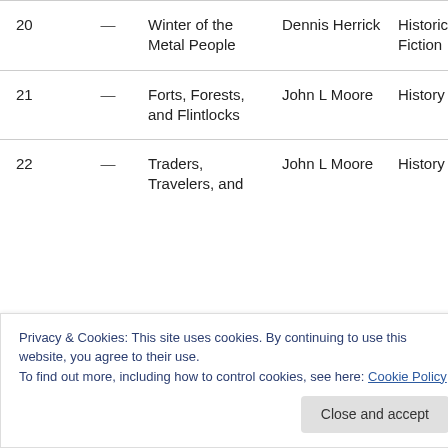| # |  | Title | Author | Genre |
| --- | --- | --- | --- | --- |
| 20 | — | Winter of the Metal People | Dennis Herrick | Historical Fiction |
| 21 | — | Forts, Forests, and Flintlocks | John L Moore | History |
| 22 | — | Traders, Travelers, and ... | John L Moore | History |
Privacy & Cookies: This site uses cookies. By continuing to use this website, you agree to their use.
To find out more, including how to control cookies, see here: Cookie Policy